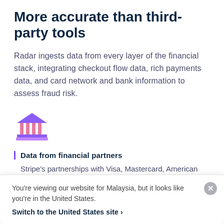More accurate than third-party tools
Radar ingests data from every layer of the financial stack, integrating checkout flow data, rich payments data, and card network and bank information to assess fraud risk.
[Figure (illustration): Bank/institution icon — a purple classical building with columns and a triangular roof]
Data from financial partners
Stripe's partnerships with Visa, Mastercard, American
You're viewing our website for Malaysia, but it looks like you're in the United States.
Switch to the United States site  ›